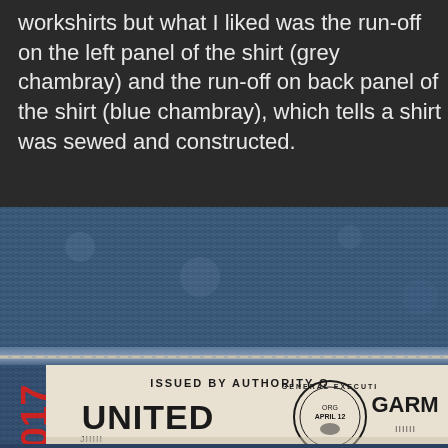workshirts but what I liked was the run-off on the left panel of the shirt (grey chambray) and the run-off on back panel of the shirt (blue chambray), which tells a shirt was sewed and constructed.
[Figure (photo): Close-up photograph of denim fabric seam at the top, with a vintage garment label below. The label reads 'ISSUED BY AUTHORITY O...' and 'UNITED' in large letters with a circular seal showing 'GENERAL EXECUTIVE' and 'APRIL 12' and partial text 'GARM...' The number '2017' appears in red on the left side of the label.]